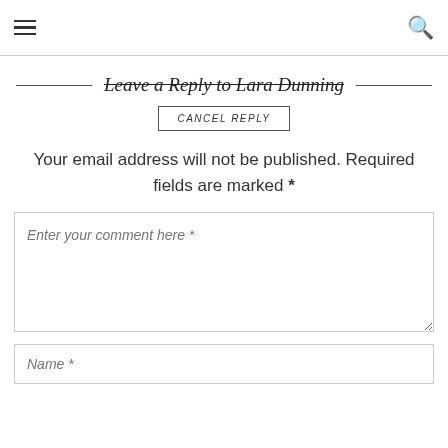≡ (menu) | Q (search)
Leave a Reply to Lara Dunning
CANCEL REPLY
Your email address will not be published. Required fields are marked *
Enter your comment here *
Name *